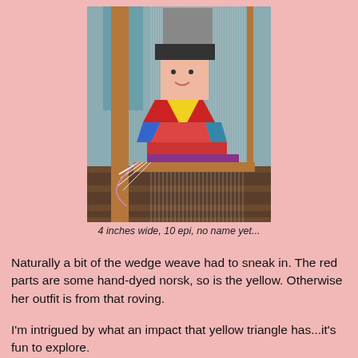[Figure (photo): A weaving loom with a colorful tapestry in progress showing a figure/person with a hat, wearing an outfit with wedge-weave pattern in red, yellow, blue and other colors. The loom sits on a wooden surface.]
4 inches wide, 10 epi, no name yet...
Naturally a bit of the wedge weave had to sneak in. The red parts are some hand-dyed norsk, so is the yellow. Otherwise her outfit is from that roving.
I'm intrigued by what an impact that yellow triangle has...it's fun to explore.